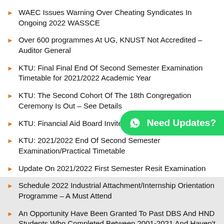WAEC Issues Warning Over Cheating Syndicates In Ongoing 2022 WASSCE
Over 600 programmes At UG, KNUST Not Accredited – Auditor General
KTU: Final Final End Of Second Semester Examination Timetable for 2021/2022 Academic Year
KTU: The Second Cohort Of The 18th Congregation Ceremony Is Out – See Details
KTU: Financial Aid Board Invites You … See Details
KTU: 2021/2022 End Of Second Semester Examination/Practical Timetable
Update On 2021/2022 First Semester Resit Examination
Schedule 2022 Industrial Attachment/Internship Orientation Programme – A Must Attend
An Opportunity Have Been Granted To Past DBS And HND Students Who Completed Between 2001-2021 And Haven't Graduated To Graduate – See Details